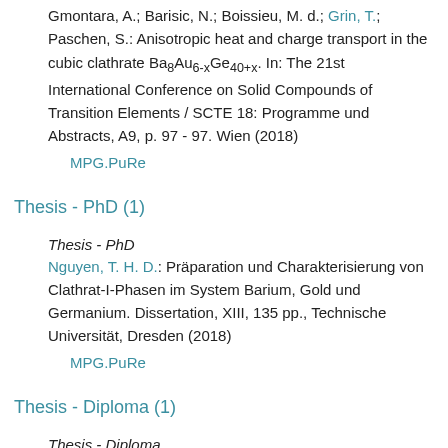Gmontara, A.; Barisic, N.; Boissieu, M. d.; Grin, T.; Paschen, S.: Anisotropic heat and charge transport in the cubic clathrate Ba8Au6-xGe40+x. In: The 21st International Conference on Solid Compounds of Transition Elements / SCTE 18: Programme und Abstracts, A9, p. 97 - 97. Wien (2018)
MPG.PuRe
Thesis - PhD (1)
Thesis - PhD
Nguyen, T. H. D.: Präparation und Charakterisierung von Clathrat-I-Phasen im System Barium, Gold und Germanium. Dissertation, XIII, 135 pp., Technische Universität, Dresden (2018)
MPG.PuRe
Thesis - Diploma (1)
Thesis - Diploma